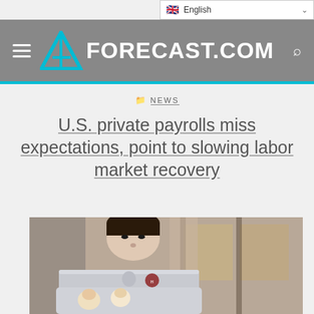English (language selector)
AW FORECAST.COM (navigation bar with hamburger menu and search)
NEWS
U.S. private payrolls miss expectations, point to slowing labor market recovery
[Figure (photo): A person sitting behind an open laptop (with stickers on it including a Harvard sticker and cartoon characters) in what appears to be a cafe or restaurant setting with blurred background.]